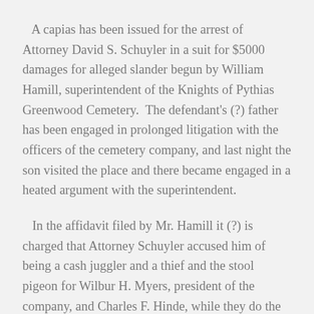A capias has been issued for the arrest of Attorney David S. Schuyler in a suit for $5000 damages for alleged slander begun by William Hamill, superintendent of the Knights of Pythias Greenwood Cemetery. The defendant's (?) father has been engaged in prolonged litigation with the officers of the cemetery company, and last night the son visited the place and there became engaged in a heated argument with the superintendent.
In the affidavit filed by Mr. Hamill it (?) is charged that Attorney Schuyler accused him of being a cash juggler and a thief and the stool pigeon for Wilbur H. Myers, president of the company, and Charles F. Hinde, while they do the stealing.